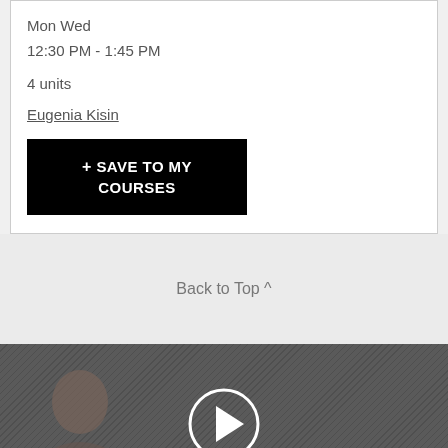Mon Wed
12:30 PM - 1:45 PM
4 units
Eugenia Kisin
+ SAVE TO MY COURSES
Back to Top ^
[Figure (photo): Video thumbnail showing a person with a play button overlay]